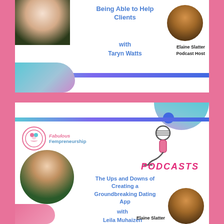[Figure (illustration): Top podcast card: Fabulous Fempreneurship Podcasts card featuring 'Being Able to Help Clients with Taryn Watts', with guest photo top left, host Elaine Slatter photo top right, teal blob decoration and blue bar]
Being Able to Help Clients
with
Taryn Watts
Elaine Slatter
Podcast Host
[Figure (illustration): Bottom podcast card: Fabulous Fempreneurship Podcasts card featuring 'The Ups and Downs of Creating a Groundbreaking Dating App with Leila Muhaizen', with guest photo left, microphone illustration, PODCASTS text, host Elaine Slatter photo bottom right]
The Ups and Downs of Creating a Groundbreaking Dating App
with
Leila Muhaizen
Elaine Slatter